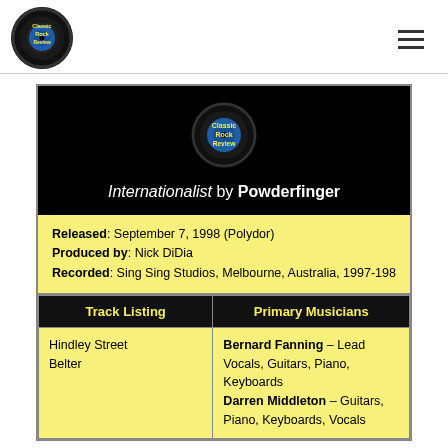Classic Rock Review
[Figure (logo): Classic Rock Review vinyl record logo — circular black record with yellow text 'Classic Rock Review' and blue center label]
Internationalist by Powderfinger
Released: September 7, 1998 (Polydor)
Produced by: Nick DiDia
Recorded: Sing Sing Studios, Melbourne, Australia, 1997-198
| Track Listing | Primary Musicians |
| --- | --- |
| Hindley Street
Belter | Bernard Fanning – Lead Vocals, Guitars, Piano, Keyboards
Darren Middleton – Guitars, Piano, Keyboards, Vocals |